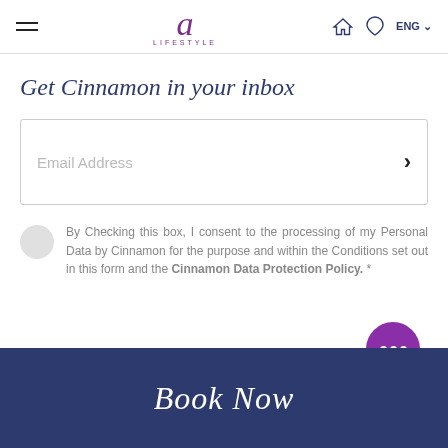≡  a LIFESTYLE  🏠 ♡ ENG ∨
Get Cinnamon in your inbox
[Figure (other): Email address input field with right-arrow submit button]
By Checking this box, I consent to the processing of my Personal Data by Cinnamon for the purpose and within the Conditions set out in this form and the Cinnamon Data Protection Policy. *
Book Now